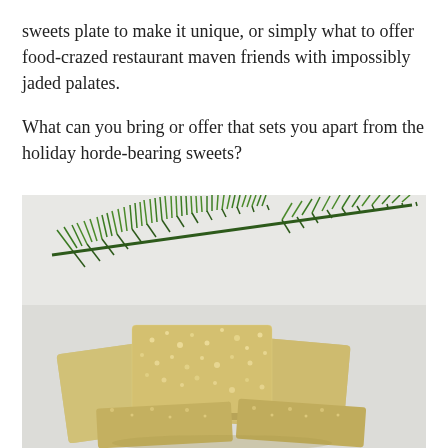sweets plate to make it unique, or simply what to offer food-crazed restaurant maven friends with impossibly jaded palates.
What can you bring or offer that sets you apart from the holiday horde-bearing sweets?
[Figure (photo): A close-up photo of shortbread or sugar cookie squares stacked on a white plate, topped with coarse sugar crystals, with a sprig of fresh rosemary in the background on a white surface.]